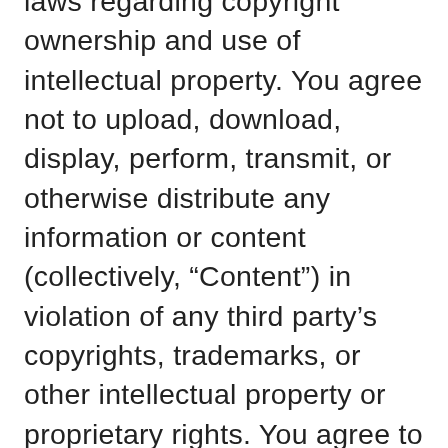laws regarding copyright ownership and use of intellectual property. You agree not to upload, download, display, perform, transmit, or otherwise distribute any information or content (collectively, “Content”) in violation of any third party’s copyrights, trademarks, or other intellectual property or proprietary rights. You agree to abide by laws regarding copyright ownership and use of intellectual property, and you shall be solely responsible for any violations of any relevant laws and for any infringements of third party rights caused by any Content you provide or transmit, or that is provided or transmitted using your